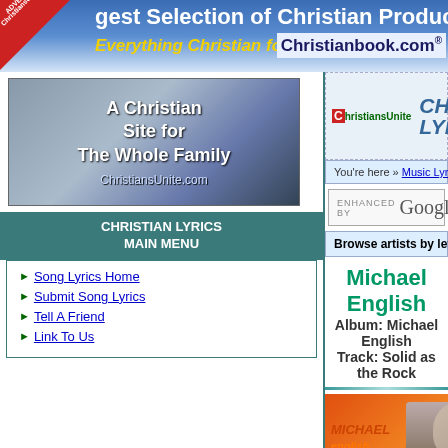[Figure (screenshot): Top banner for ChristiansUnite showing 'gest Selection of Christian Products on the Web' and 'Everything Christian for Less! Christianbook.com' with advertise badge]
[Figure (illustration): A Christian Site for The Whole Family - ChristiansUnite.com sidebar image]
CHRISTIAN LYRICS MAIN MENU
Song Lyrics Home
Submit Song Lyrics
Tell A Friend
Link To Us
[Figure (logo): ChristiansUnite Christian Lyrics header logo with music notes]
You're here » Music Lyrics Index » E » Michael English » Michael
ENHANCED BY Google
Search
Browse artists by letter: # A B C D E F G H I J K L
Michael English
Album: Michael English
Track: Solid as the Rock
[Figure (photo): Michael English album cover with orange/red background and photo of the artist]